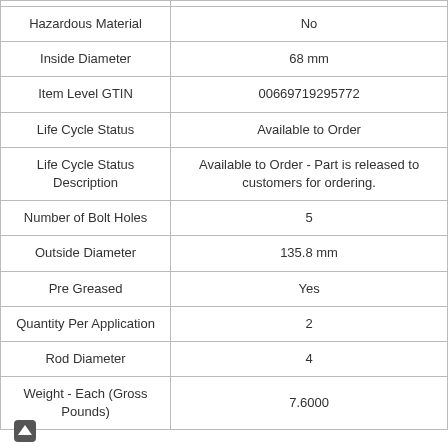| Property | Value |
| --- | --- |
| Hazardous Material | No |
| Inside Diameter | 68 mm |
| Item Level GTIN | 00669719295772 |
| Life Cycle Status | Available to Order |
| Life Cycle Status Description | Available to Order - Part is released to customers for ordering. |
| Number of Bolt Holes | 5 |
| Outside Diameter | 135.8 mm |
| Pre Greased | Yes |
| Quantity Per Application | 2 |
| Rod Diameter | 4 |
| Weight - Each (Gross Pounds) | 7.6000 |